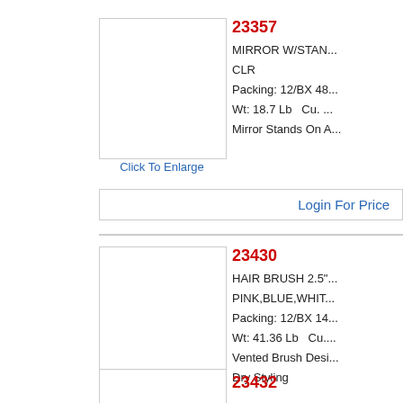[Figure (photo): Product image placeholder for item 23357 - Mirror with stand]
Click To Enlarge
23357
MIRROR W/STAN...
CLR
Packing: 12/BX 48...
Wt: 18.7 Lb   Cu. ...
Mirror Stands On A...
Login For Price
[Figure (photo): Product image placeholder for item 23430 - Hair Brush 2.5"]
Click To Enlarge
23430
HAIR BRUSH 2.5"
PINK,BLUE,WHIT...
Packing: 12/BX 14...
Wt: 41.36 Lb   Cu....
Vented Brush Desi...
Dry Styling
Login For Price
[Figure (photo): Product image placeholder for item 23432]
23432